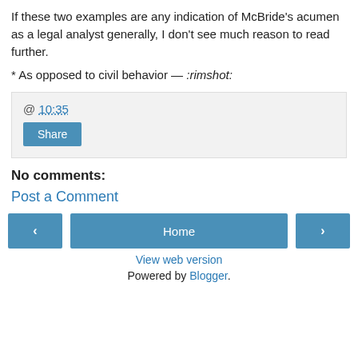If these two examples are any indication of McBride's acumen as a legal analyst generally, I don't see much reason to read further.
* As opposed to civil behavior — :rimshot:
@ 10:35  [Share button]
No comments:
Post a Comment
‹  Home  ›
View web version
Powered by Blogger.